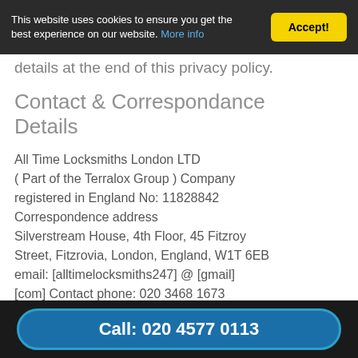This website uses cookies to ensure you get the best experience on our website. More info | Accept!
details at the end of this privacy policy.
Contact & Correspondance Details
All Time Locksmiths London LTD ( Part of the Terralox Group ) Company registered in England No: 11828842 Correspondence address Silverstream House, 4th Floor, 45 Fitzroy Street, Fitzrovia, London, England, W1T 6EB email: [alltimelocksmiths247] @ [gmail] [com] Contact phone: 020 3468 1673
Call: 020 4577 0113